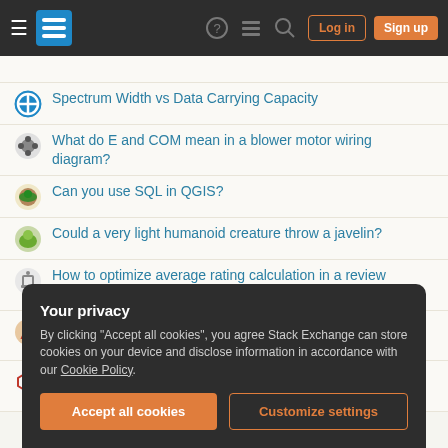Stack Exchange navigation bar with hamburger menu, logo, help, chat, search, Log in, Sign up
Spectrum Width vs Data Carrying Capacity
What do E and COM mean in a blower motor wiring diagram?
Can you use SQL in QGIS?
Could a very light humanoid creature throw a javelin?
How to optimize average rating calculation in a review system?
What is the image of at the beginning of Better Call Saul's next-to-last episode?
Distribute evenly such that object spacing to page margins = spacing between objects
Your privacy
By clicking "Accept all cookies", you agree Stack Exchange can store cookies on your device and disclose information in accordance with our Cookie Policy.
Accept all cookies | Customize settings